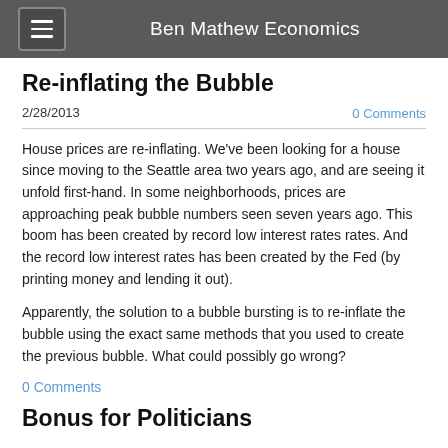Ben Mathew Economics
Re-inflating the Bubble
2/28/2013
0 Comments
House prices are re-inflating. We've been looking for a house since moving to the Seattle area two years ago, and are seeing it unfold first-hand. In some neighborhoods, prices are approaching peak bubble numbers seen seven years ago. This boom has been created by record low interest rates rates. And the record low interest rates has been created by the Fed (by printing money and lending it out).
Apparently, the solution to a bubble bursting is to re-inflate the bubble using the exact same methods that you used to create the previous bubble. What could possibly go wrong?
0 Comments
Bonus for Politicians